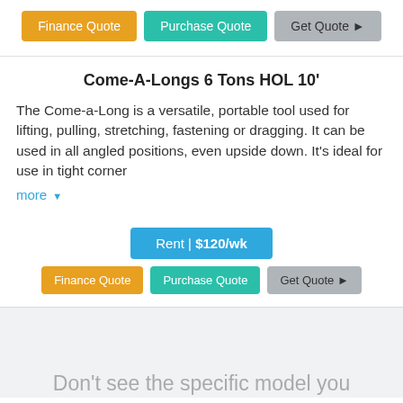[Figure (screenshot): Row of buttons: Finance Quote (orange), Purchase Quote (teal), Get Quote (gray with arrow)]
Come-A-Longs 6 Tons HOL 10'
The Come-a-Long is a versatile, portable tool used for lifting, pulling, stretching, fastening or dragging. It can be used in all angled positions, even upside down. It's ideal for use in tight corner
more ▾
Rent | $120/wk
Finance Quote   Purchase Quote   Get Quote ▶
Don't see the specific model you